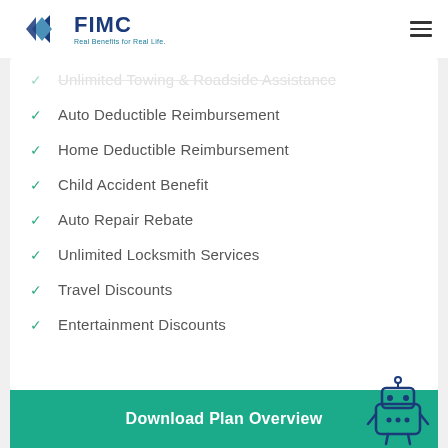FIMC - Real Benefits for Real Life.
Unlimited Towing & Roadside Assistance
Auto Deductible Reimbursement
Home Deductible Reimbursement
Child Accident Benefit
Auto Repair Rebate
Unlimited Locksmith Services
Travel Discounts
Entertainment Discounts
[Figure (illustration): Download Plan Overview button with teal background and a chat robot icon in the bottom right corner]
Download Plan Overview